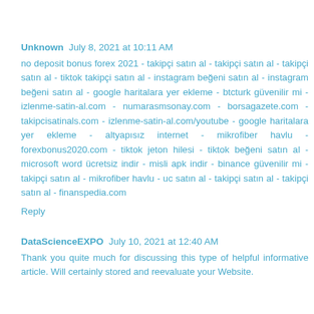Unknown  July 8, 2021 at 10:11 AM
no deposit bonus forex 2021 - takipçi satın al - takipçi satın al - takipçi satın al - tiktok takipçi satın al - instagram beğeni satın al - instagram beğeni satın al - google haritalara yer ekleme - btcturk güvenilir mi - izlenme-satin-al.com - numarasmsonay.com - borsagazete.com - takipcisatinals.com - izlenme-satin-al.com/youtube - google haritalara yer ekleme - altyapısız internet - mikrofiber havlu - forexbonus2020.com - tiktok jeton hilesi - tiktok beğeni satın al - microsoft word ücretsiz indir - misli apk indir - binance güvenilir mi - takipçi satın al - mikrofiber havlu - uc satın al - takipçi satın al - takipçi satın al - finanspedia.com
Reply
DataScienceEXPO  July 10, 2021 at 12:40 AM
Thank you quite much for discussing this type of helpful informative article. Will certainly stored and reevaluate your Website.